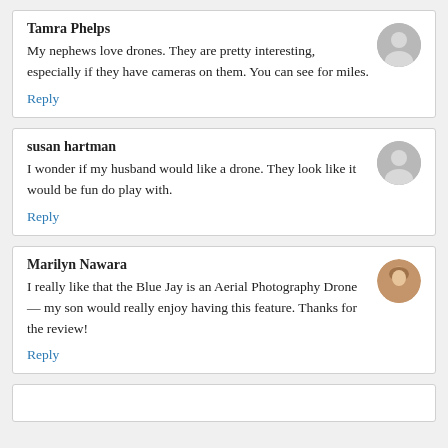Tamra Phelps
My nephews love drones. They are pretty interesting, especially if they have cameras on them. You can see for miles.
Reply
susan hartman
I wonder if my husband would like a drone. They look like it would be fun do play with.
Reply
Marilyn Nawara
I really like that the Blue Jay is an Aerial Photography Drone — my son would really enjoy having this feature. Thanks for the review!
Reply